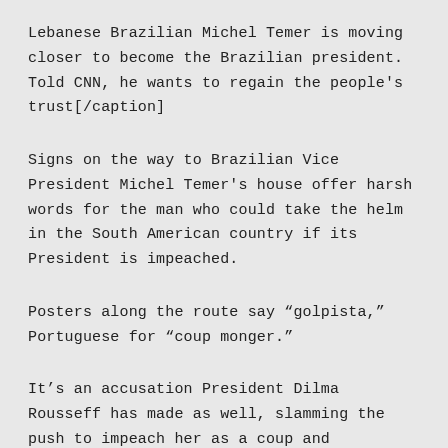Lebanese Brazilian Michel Temer is moving closer to become the Brazilian president. Told CNN, he wants to regain the people's trust[/caption]
Signs on the way to Brazilian Vice President Michel Temer's house offer harsh words for the man who could take the helm in the South American country if its President is impeached.
Posters along the route say “golpista,” Portuguese for “coup monger.”
It’s an accusation President Dilma Rousseff has made as well, slamming the push to impeach her as a coup and